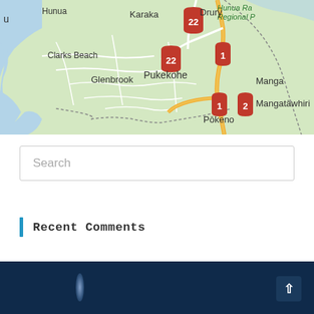[Figure (map): Google Maps screenshot showing the area south of Auckland, New Zealand, including locations: Karaka, Drury, Clarks Beach, Glenbrook, Pukekohe, Mangatāwhiri, Pōkeno, Hunua, Hunua Ranges Regional Park. Route markers visible: 22 (twice), 1 (three times), 2. Roads shown include State Highway 1 (yellow) and local roads (white). Background is light green for land, blue for water inlets.]
Search
Recent Comments